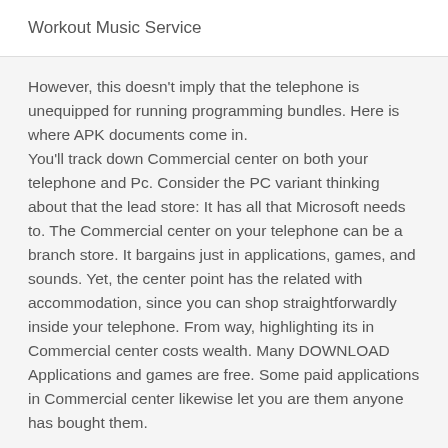Workout Music Service
However, this doesn't imply that the telephone is unequipped for running programming bundles. Here is where APK documents come in.
You'll track down Commercial center on both your telephone and Pc. Consider the PC variant thinking about that the lead store: It has all that Microsoft needs to. The Commercial center on your telephone can be a branch store. It bargains just in applications, games, and sounds. Yet, the center point has the related with accommodation, since you can shop straightforwardly inside your telephone. From way, highlighting its in Commercial center costs wealth. Many DOWNLOAD Applications and games are free. Some paid applications in Commercial center likewise let you are them anyone has bought them.